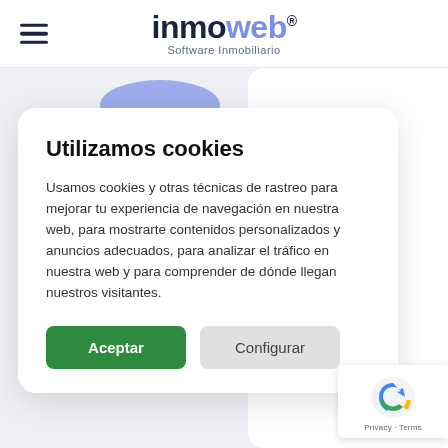[Figure (logo): Inmoweb Software Inmobiliario logo with hamburger menu icon]
Utilizamos cookies
Usamos cookies y otras técnicas de rastreo para mejorar tu experiencia de navegación en nuestra web, para mostrarte contenidos personalizados y anuncios adecuados, para analizar el tráfico en nuestra web y para comprender de dónde llegan nuestros visitantes.
Aceptar | Configurar